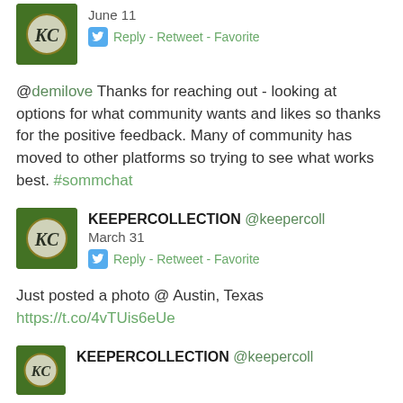[Figure (photo): Profile avatar for KEEPERCOLLECTION showing a KC monogram on a green leafy background]
June 11
Reply - Retweet - Favorite
@demilove Thanks for reaching out - looking at options for what community wants and likes so thanks for the positive feedback. Many of community has moved to other platforms so trying to see what works best. #sommchat
[Figure (photo): Profile avatar for KEEPERCOLLECTION showing a KC monogram on a green leafy background]
KEEPERCOLLECTION @keepercoll
March 31
Reply - Retweet - Favorite
Just posted a photo @ Austin, Texas
https://t.co/4vTUis6eUe
[Figure (photo): Profile avatar for KEEPERCOLLECTION showing a KC monogram on a green leafy background]
KEEPERCOLLECTION @keepercoll